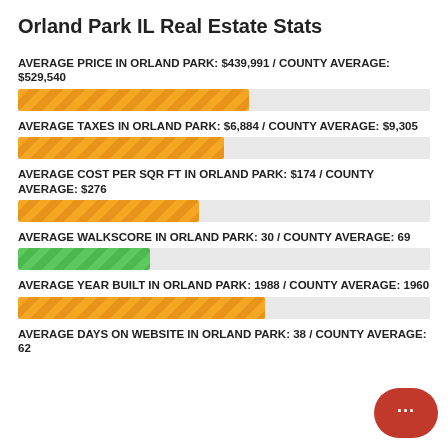Orland Park IL Real Estate Stats
AVERAGE PRICE IN ORLAND PARK: $439,991 / COUNTY AVERAGE: $529,540
[Figure (bar-chart): Horizontal bar showing Orland Park average price vs county average]
AVERAGE TAXES IN ORLAND PARK: $6,884 / COUNTY AVERAGE: $9,305
[Figure (bar-chart): Horizontal bar showing Orland Park average taxes vs county average]
AVERAGE COST PER SQR FT IN ORLAND PARK: $174 / COUNTY AVERAGE: $276
[Figure (bar-chart): Horizontal bar showing Orland Park cost per sqft vs county average]
AVERAGE WALKSCORE IN ORLAND PARK: 30 / COUNTY AVERAGE: 69
[Figure (bar-chart): Green horizontal bar showing Orland Park walkscore vs county average]
AVERAGE YEAR BUILT IN ORLAND PARK: 1988 / COUNTY AVERAGE: 1960
[Figure (bar-chart): Horizontal bar showing Orland Park average year built vs county average]
AVERAGE DAYS ON WEBSITE IN ORLAND PARK: 38 / COUNTY AVERAGE: 62